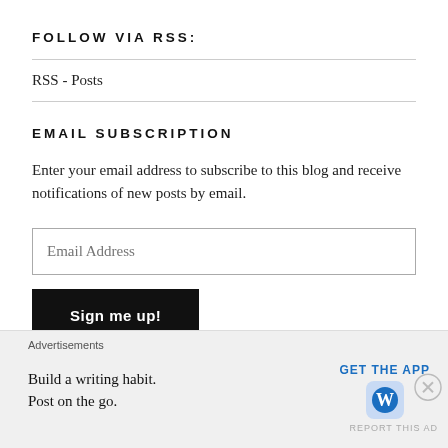FOLLOW VIA RSS:
RSS - Posts
EMAIL SUBSCRIPTION
Enter your email address to subscribe to this blog and receive notifications of new posts by email.
Email Address
Sign me up!
Advertisements
Build a writing habit.
Post on the go.
GET THE APP